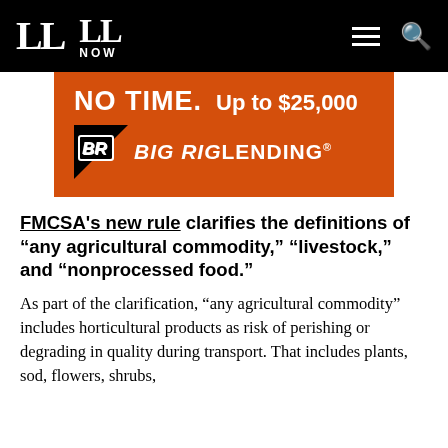LL | LL NOW
[Figure (infographic): Orange advertisement banner for Big Rig Lending showing 'NO TIME. Up to $25,000' with the BR Big Rig Lending logo on an orange background.]
FMCSA's new rule clarifies the definitions of "any agricultural commodity," "livestock," and "nonprocessed food."
As part of the clarification, “any agricultural commodity” includes horticultural products as risk of perishing or degrading in quality during transport. That includes plants, sod, flowers, shrubs,